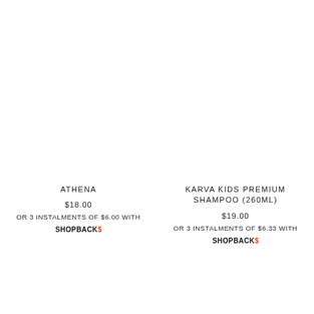ATHENA
$18.00
OR 3 INSTALMENTS OF $6.00 WITH
SHOPBACK$
KARVA KIDS PREMIUM SHAMPOO (260ML)
$19.00
OR 3 INSTALMENTS OF $6.33 WITH
SHOPBACK$